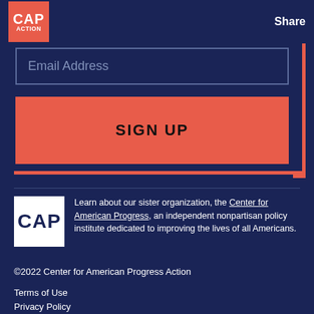CAP ACTION | Share
Email Address
SIGN UP
Learn about our sister organization, the Center for American Progress, an independent nonpartisan policy institute dedicated to improving the lives of all Americans.
©2022 Center for American Progress Action
Terms of Use
Privacy Policy